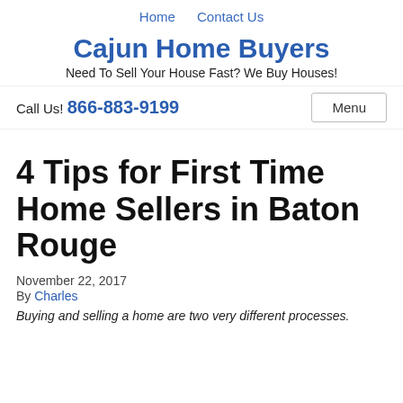Home   Contact Us
Cajun Home Buyers
Need To Sell Your House Fast? We Buy Houses!
Call Us! 866-883-9199   Menu
4 Tips for First Time Home Sellers in Baton Rouge
November 22, 2017
By Charles
Buying and selling a home are two very different processes.